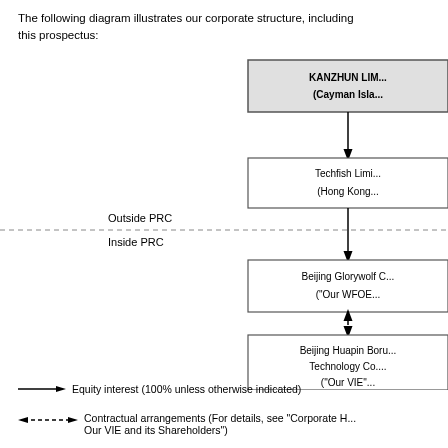The following diagram illustrates our corporate structure, including our principal subsidiaries, our VIE and its shareholders as of the date of this prospectus:
[Figure (organizational-chart): Corporate structure diagram showing Kanzhun Limited (Cayman Islands) at the top, connected by equity interest arrow to Techfish Limited (Hong Kong), then crossing Outside PRC / Inside PRC boundary via dashed line to Beijing Glorywolf Co. (Our WFOE), which has contractual arrangement double-headed dashed arrow to Beijing Huapin Boru Technology Co. (Our VIE). Legend shows solid arrow = Equity interest (100% unless otherwise indicated), dashed double arrow = Contractual arrangements.]
Equity interest (100% unless otherwise indicated)
Contractual arrangements (For details, see "Corporate History — Our VIE and its Shareholders")